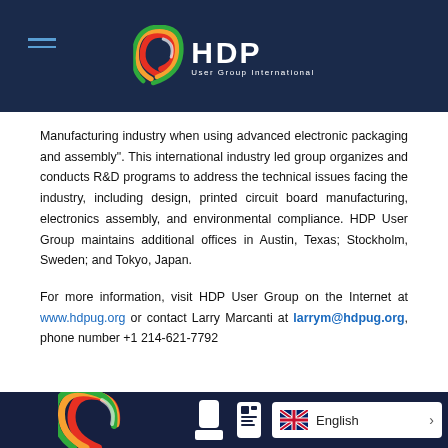[Figure (logo): HDP User Group International logo — colorful swirl with HDP text in white, on dark navy header bar]
Manufacturing industry when using advanced electronic packaging and assembly". This international industry led group organizes and conducts R&D programs to address the technical issues facing the industry, including design, printed circuit board manufacturing, electronics assembly, and environmental compliance. HDP User Group maintains additional offices in Austin, Texas; Stockholm, Sweden; and Tokyo, Japan.
For more information, visit HDP User Group on the Internet at www.hdpug.org or contact Larry Marcanti at larrym@hdpug.org, phone number +1 214-621-7792
[Figure (logo): HDP User Group International partial logo at bottom of dark navy footer area, with social media icons and English language selector]
English